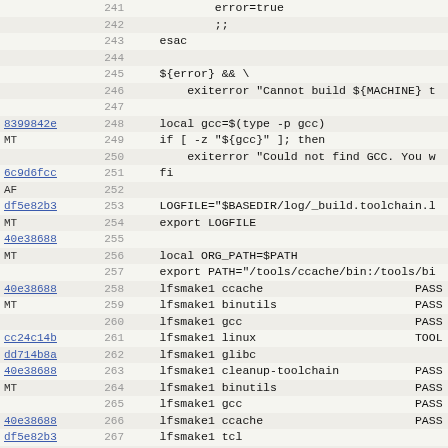Code listing lines 241-272, showing shell script with commit hashes, line numbers, and code content including gcc toolchain build steps